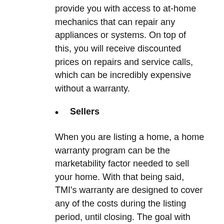provide you with access to at-home mechanics that can repair any appliances or systems. On top of this, you will receive discounted prices on repairs and service calls, which can be incredibly expensive without a warranty.
Sellers
When you are listing a home, a home warranty program can be the marketability factor needed to sell your home. With that being said, TMI's warranty are designed to cover any of the costs during the listing period, until closing. The goal with this warranty is to ensure the listed home remains safe and in great condition, until closing.
Coverage Under Warranty
Those who decide to purchase the TMI Home Warranty, whether buyer or seller, receive the same types of coverage, unless you purchase a more comprehensive